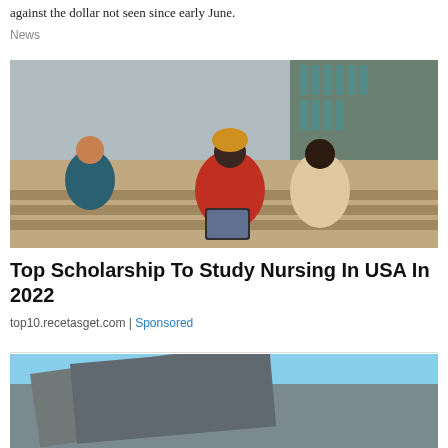against the dollar not seen since early June.
News
[Figure (photo): Students sitting on benches outdoors, two in foreground looking at a tablet, others in background, urban setting with glass building]
Top Scholarship To Study Nursing In USA In 2022
top10.recetasget.com | Sponsored
[Figure (photo): Partial view of a building exterior against a blue sky, bottom of page]